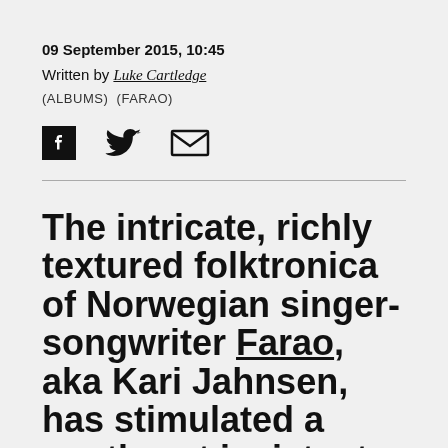09 September 2015, 10:45
Written by Luke Cartledge
(ALBUMS) (FARAO)
[Figure (infographic): Social sharing icons: Facebook, Twitter, Email]
The intricate, richly textured folktronica of Norwegian singer-songwriter Farao, aka Kari Jahnsen, has stimulated a gentle yet insistent bubble